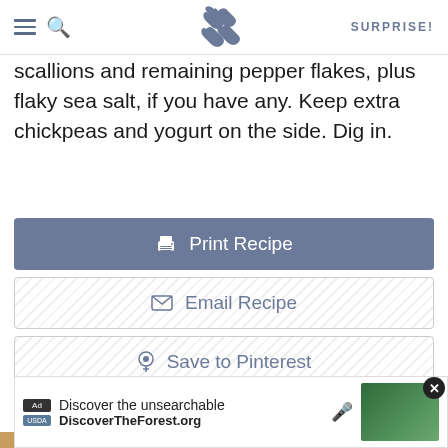SK (logo) SURPRISE!
scallions and remaining pepper flakes, plus flaky sea salt, if you have any. Keep extra chickpeas and yogurt on the side. Dig in.
Print Recipe
Email Recipe
Save to Pinterest
Related
[Figure (photo): Related food photo 1 - baked dish]
[Figure (photo): Related food/nature photo 2]
[Figure (photo): Advertisement banner: Discover the unsearchable - DiscoverTheForest.org with forest image]